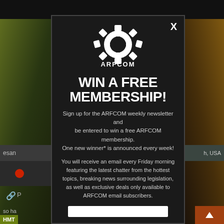[Figure (screenshot): Website background with dark top bar, blurred green/yellow left panel and brown/orange right panel, with UI elements (search bar, location text 'h, USA', gray panel with red dot, link icon, body text 'so h... clos... anyo...', orange scroll buttons, HMT label) visible behind a modal popup]
[Figure (logo): ARFCOM gear/crosshair logo in white SVG]
WIN A FREE MEMBERSHIP!
Sign up for the ARFCOM weekly newsletter and be entered to win a free ARFCOM membership. One new winner* is announced every week!
You will receive an email every Friday morning featuring the latest chatter from the hottest topics, breaking news surrounding legislation, as well as exclusive deals only available to ARFCOM email subscribers.